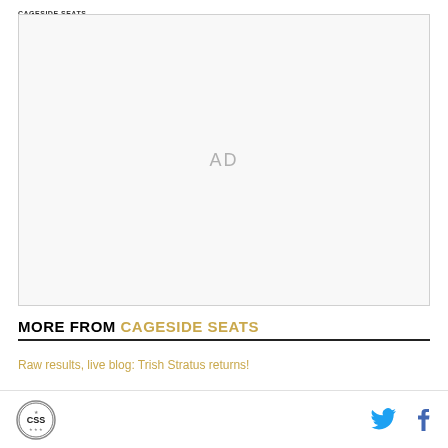CAGESIDE SEATS
[Figure (other): Advertisement placeholder box with 'AD' text in center]
MORE FROM CAGESIDE SEATS
Raw results, live blog: Trish Stratus returns!
Cageside Seats logo with Twitter and Facebook icons